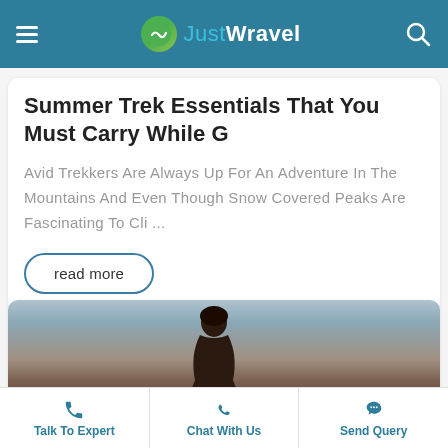JustWravel
Summer Trek Essentials That You Must Carry While G
Avid Trekkers Are Always Up For An Adventure In The Mountains And Even Though Snow Covered Peaks Are Fascinating To Cli ...
read more
[Figure (photo): A person silhouetted against a dramatic cloudy sky, viewed from behind, appearing to stand outdoors at dusk or twilight.]
Talk To Expert | Chat With Us | Send Query